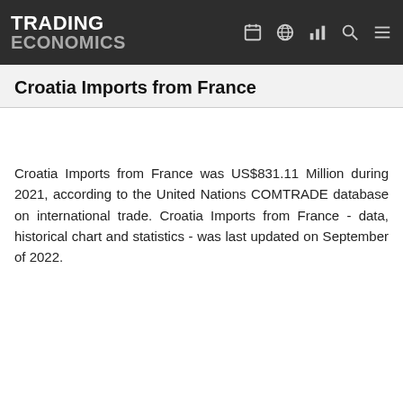TRADING ECONOMICS
Croatia Imports from France
Croatia Imports from France was US$831.11 Million during 2021, according to the United Nations COMTRADE database on international trade. Croatia Imports from France - data, historical chart and statistics - was last updated on September of 2022.